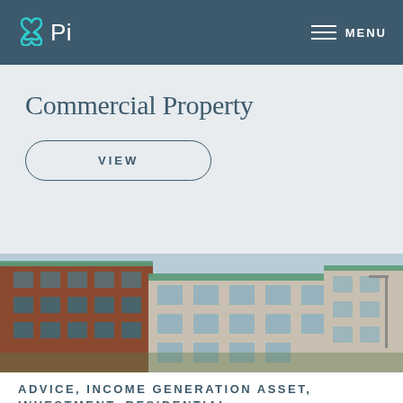Pi — MENU
Commercial Property
VIEW
[Figure (photo): Exterior photo of a modern multi-storey residential/commercial brick and glass building with balconies, taken from street level against a blue sky]
ADVICE, INCOME GENERATION ASSET, INVESTMENT, RESIDENTIAL